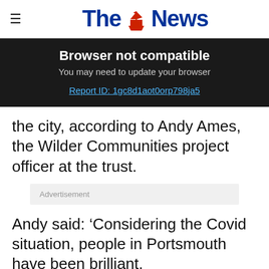The News
Browser not compatible
You may need to update your browser
Report ID: 1gc8d1aot0orp798ja5
the city, according to Andy Ames, the Wilder Communities project officer at the trust.
Advertisement
Andy said: ‘Considering the Covid situation, people in Portsmouth have been brilliant.
‘We have had hundreds of people across the city get involved.